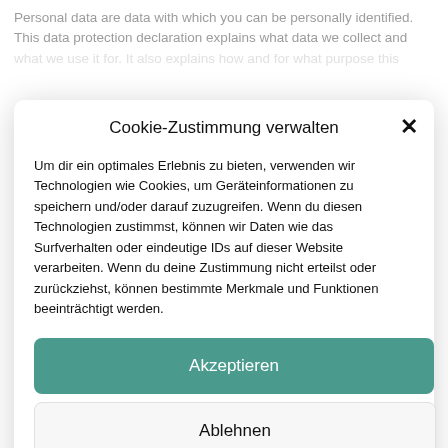Personal data are data with which you can be personally identified. This data protection declaration explains what data we collect and what we use it for. It also explains how and for what purpose this is done.
Cookie-Zustimmung verwalten
Um dir ein optimales Erlebnis zu bieten, verwenden wir Technologien wie Cookies, um Geräteinformationen zu speichern und/oder darauf zuzugreifen. Wenn du diesen Technologien zustimmst, können wir Daten wie das Surfverhalten oder eindeutige IDs auf dieser Website verarbeiten. Wenn du deine Zustimmung nicht erteilst oder zurückziehst, können bestimmte Merkmale und Funktionen beeinträchtigt werden.
Akzeptieren
Ablehnen
Einstellungen ansehen
Data protection   imprint